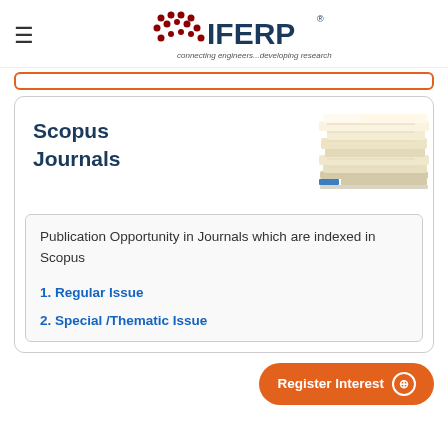IFERP — connecting engineers...developing research
Scopus Journals
[Figure (photo): Stack of journals/papers photographed from the side]
Publication Opportunity in Journals which are indexed in Scopus
1. Regular Issue
2. Special /Thematic Issue
Register Interest